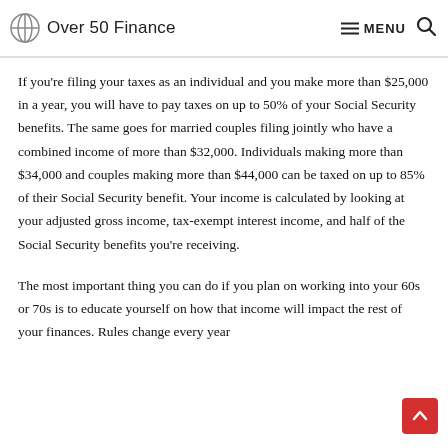Over 50 Finance — MENU
If you're filing your taxes as an individual and you make more than $25,000 in a year, you will have to pay taxes on up to 50% of your Social Security benefits. The same goes for married couples filing jointly who have a combined income of more than $32,000. Individuals making more than $34,000 and couples making more than $44,000 can be taxed on up to 85% of their Social Security benefit. Your income is calculated by looking at your adjusted gross income, tax-exempt interest income, and half of the Social Security benefits you're receiving.
The most important thing you can do if you plan on working into your 60s or 70s is to educate yourself on how that income will impact the rest of your finances. Rules change every year